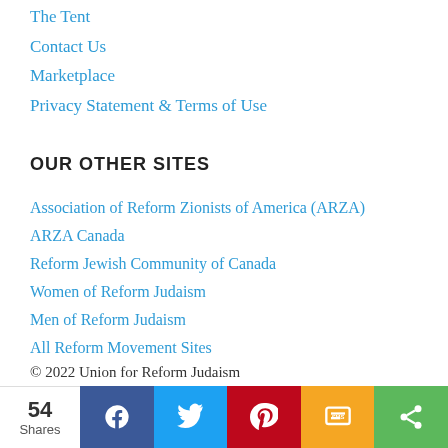The Tent
Contact Us
Marketplace
Privacy Statement & Terms of Use
OUR OTHER SITES
Association of Reform Zionists of America (ARZA)
ARZA Canada
Reform Jewish Community of Canada
Women of Reform Judaism
Men of Reform Judaism
All Reform Movement Sites
© 2022 Union for Reform Judaism
[Figure (infographic): Social share bar showing 54 Shares, with buttons for Facebook, Twitter, Pinterest, SMS, and general share]